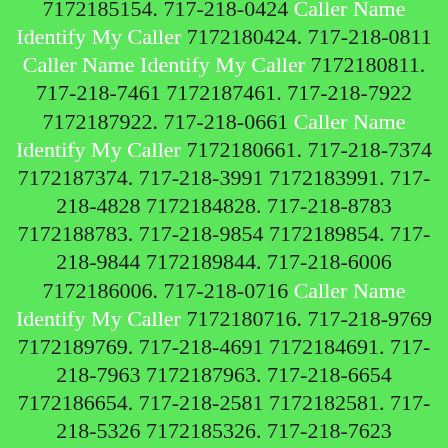7172185154. 717-218-0424 Caller Name Identify My Caller 7172180424. 717-218-0811 Caller Name Identify My Caller 7172180811. 717-218-7461 7172187461. 717-218-7922 7172187922. 717-218-0661 Caller Name Identify My Caller 7172180661. 717-218-7374 7172187374. 717-218-3991 7172183991. 717-218-4828 7172184828. 717-218-8783 7172188783. 717-218-9854 7172189854. 717-218-9844 7172189844. 717-218-6006 7172186006. 717-218-0716 Caller Name Identify My Caller 7172180716. 717-218-9769 7172189769. 717-218-4691 7172184691. 717-218-7963 7172187963. 717-218-6654 7172186654. 717-218-2581 7172182581. 717-218-5326 7172185326. 717-218-7623 7172187623. 717-218-9120 7172189120. 717-218-4095 7172184095. 717-218-2811 7172182811. 717-218-2633 7172182633. 717-218-2605 7172182605. 717-218-7453